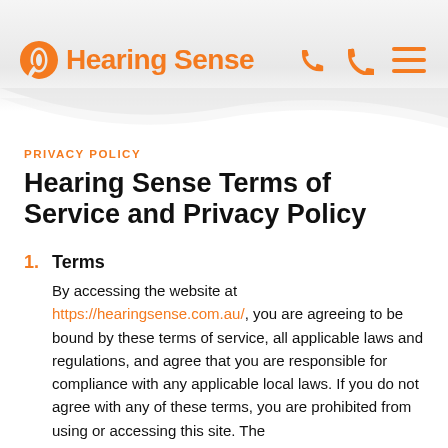Hearing Sense
PRIVACY POLICY
Hearing Sense Terms of Service and Privacy Policy
1. Terms
By accessing the website at https://hearingsense.com.au/, you are agreeing to be bound by these terms of service, all applicable laws and regulations, and agree that you are responsible for compliance with any applicable local laws. If you do not agree with any of these terms, you are prohibited from using or accessing this site. The materials contained in this website are protected by